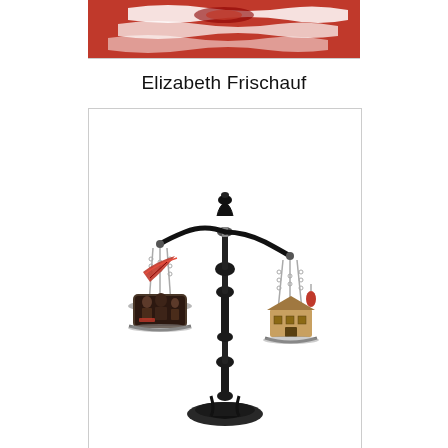[Figure (photo): Top portion of a red textile or artwork with white patterns, cropped at top]
Elizabeth Frischauf
[Figure (photo): A decorative antique balance scale (scales of justice) in black metal, with chains holding two pans. The left pan holds a decorative tin box with an image of people on it and a red feather quill. The right pan holds a small miniature house/building and a red object, suspended by chains.]